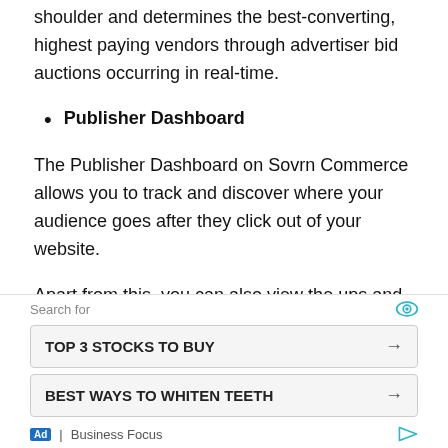shoulder and determines the best-converting, highest paying vendors through advertiser bid auctions occurring in real-time.
Publisher Dashboard
The Publisher Dashboard on Sovrn Commerce allows you to track and discover where your audience goes after they click out of your website.
Apart from this, you can also view the ups and downs in the revenue generated, top-performing
[Figure (other): Advertisement overlay showing 'Search for' header with eye icon, two ad buttons: 'TOP 3 STOCKS TO BUY' and 'BEST WAYS TO WHITEN TEETH', and footer with 'Ad | Business Focus' label and play icon.]